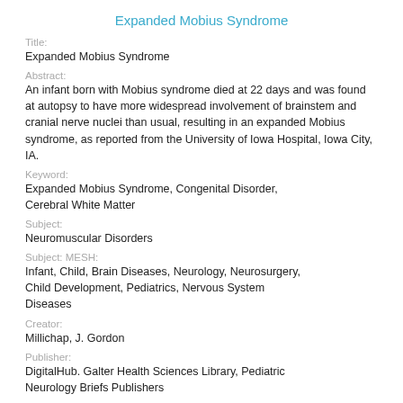Expanded Mobius Syndrome
Title:
Expanded Mobius Syndrome
Abstract:
An infant born with Mobius syndrome died at 22 days and was found at autopsy to have more widespread involvement of brainstem and cranial nerve nuclei than usual, resulting in an expanded Mobius syndrome, as reported from the University of Iowa Hospital, Iowa City, IA.
Keyword:
Expanded Mobius Syndrome, Congenital Disorder, Cerebral White Matter
Subject:
Neuromuscular Disorders
Subject: MESH:
Infant, Child, Brain Diseases, Neurology, Neurosurgery, Child Development, Pediatrics, Nervous System Diseases
Creator:
Millichap, J. Gordon
Publisher:
DigitalHub. Galter Health Sciences Library, Pediatric Neurology Briefs Publishers